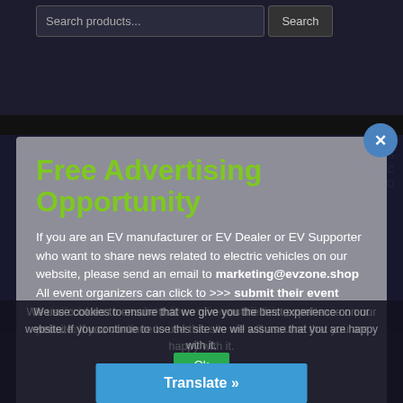[Figure (screenshot): Search bar with 'Search products...' input field and 'Search' button on dark background]
Free Advertising Opportunity
If you are an EV manufacturer or EV Dealer or EV Supporter who want to share news related to electric vehicles on our website, please send an email to marketing@evzone.shop
All event organizers can click to >>> submit their event details to evzone.shop for online publishing and promotions.
We use cookies to ensure that we give you the best experience on our website. If you continue to use this site we will assume that you are happy with it.
Translate »